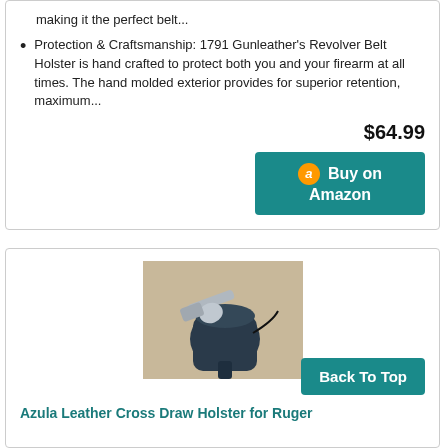making it the perfect belt...
Protection & Craftsmanship: 1791 Gunleather's Revolver Belt Holster is hand crafted to protect both you and your firearm at all times. The hand molded exterior provides for superior retention, maximum...
$64.99
Buy on Amazon
[Figure (photo): Photo of a dark blue/black leather cross draw holster with a silver revolver inserted, on a beige background]
Back To Top
Azula Leather Cross Draw Holster for Ruger